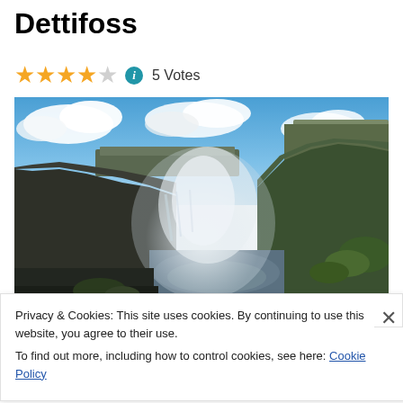Dettifoss
★★★★☆ ℹ 5 Votes
[Figure (photo): Photograph of Dettifoss waterfall in Iceland, showing a large waterfall plunging into a rocky canyon with mist rising, green cliffs on the right, and blue sky with clouds above.]
Privacy & Cookies: This site uses cookies. By continuing to use this website, you agree to their use.
To find out more, including how to control cookies, see here: Cookie Policy
Close and accept